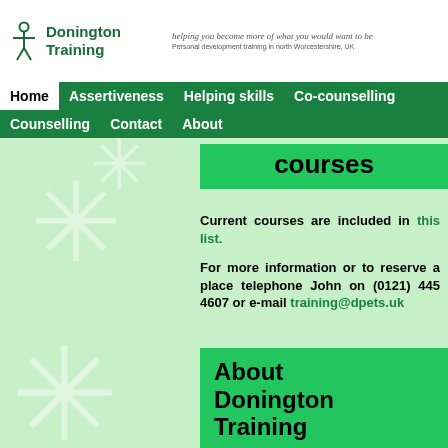Donington Training — helping you become more of what you would want to be — Personal development training in north Worcestershire, UK
Home | Assertiveness | Helping skills | Co-counselling | Counselling | Contact | About
courses
Current courses are included in this list.
For more information or to reserve a place telephone John on (0121) 445 4607 or e-mail training@dpets.uk
About Donington Training courses